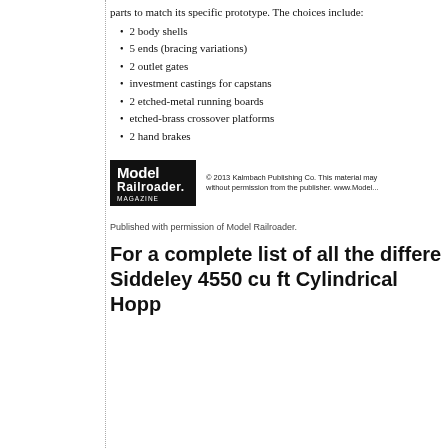parts to match its specific prototype. The choices include:
2 body shells
5 ends (bracing variations)
2 outlet gates
investment castings for capstans
2 etched-metal running boards
etched-brass crossover platforms
2 hand brakes
[Figure (logo): Model Railroader Magazine logo (white text on black background) with copyright notice: © 2013 Kalmbach Publishing Co. This material may not be reproduced without permission from the publisher. www.Model...]
Published with permission of Model Railroader.
For a complete list of all the different Siddeley 4550 cu ft Cylindrical Hopper